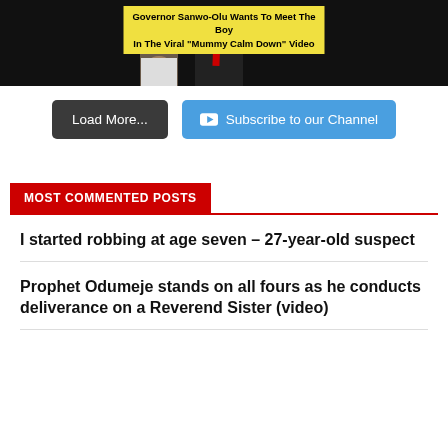[Figure (screenshot): Thumbnail image showing two people, one in shorts and one in a dark suit with red tie, with a yellow overlay text banner reading 'Governor Sanwo-Olu Wants To Meet The Boy In The Viral "Mummy Calm Down" Video']
Load More...
Subscribe to our Channel
MOST COMMENTED POSTS
I started robbing at age seven – 27-year-old suspect
Prophet Odumeje stands on all fours as he conducts deliverance on a Reverend Sister (video)